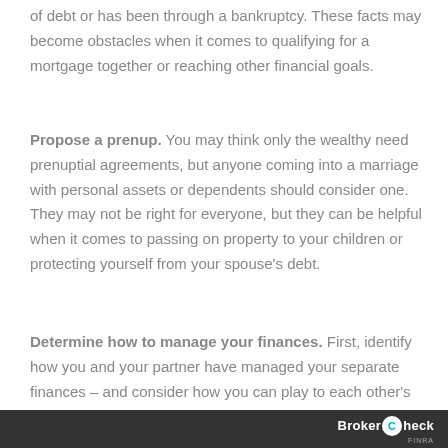of debt or has been through a bankruptcy. These facts may become obstacles when it comes to qualifying for a mortgage together or reaching other financial goals.
Propose a prenup. You may think only the wealthy need prenuptial agreements, but anyone coming into a marriage with personal assets or dependents should consider one. They may not be right for everyone, but they can be helpful when it comes to passing on property to your children or protecting yourself from your spouse's debt.
Determine how to manage your finances. First, identify how you and your partner have managed your separate finances – and consider how you can play to each other's strengths. If you're a savvy shopper and your partner...
BrokerCheck FINRA